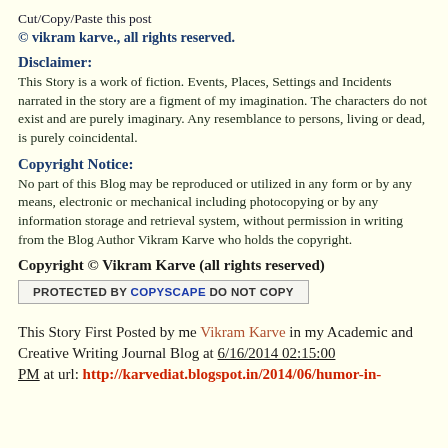Cut/Copy/Paste this post
© vikram karve., all rights reserved.
Disclaimer:
This Story is a work of fiction. Events, Places, Settings and Incidents narrated in the story are a figment of my imagination. The characters do not exist and are purely imaginary. Any resemblance to persons, living or dead, is purely coincidental.
Copyright Notice:
No part of this Blog may be reproduced or utilized in any form or by any means, electronic or mechanical including photocopying or by any information storage and retrieval system, without permission in writing from the Blog Author Vikram Karve who holds the copyright.
Copyright © Vikram Karve (all rights reserved)
[Figure (other): Copyscape protected badge: PROTECTED BY COPYSCAPE DO NOT COPY]
This Story First Posted by me Vikram Karve in my Academic and Creative Writing Journal Blog at 6/16/2014 02:15:00 PM at url: http://karvediat.blogspot.in/2014/06/humor-in-